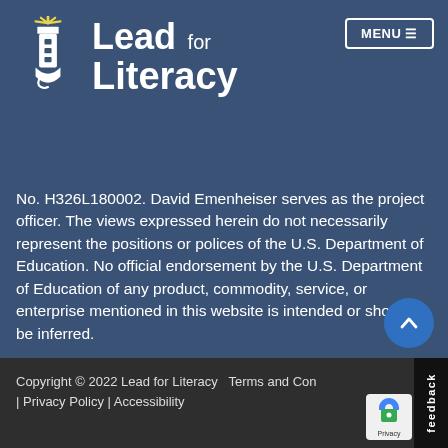[Figure (logo): Lead for Literacy logo with lighthouse icon and yellow rays on blue background]
No. H326L180002. David Emenheiser serves as the project officer. The views expressed herein do not necessarily represent the positions or polices of the U.S. Department of Education. No official endorsement by the U.S. Department of Education of any product, commodity, service, or enterprise mentioned in this website is intended or should be inferred.
Copyright © 2022 Lead for Literacy  Terms and Con | Privacy Policy | Accessibility